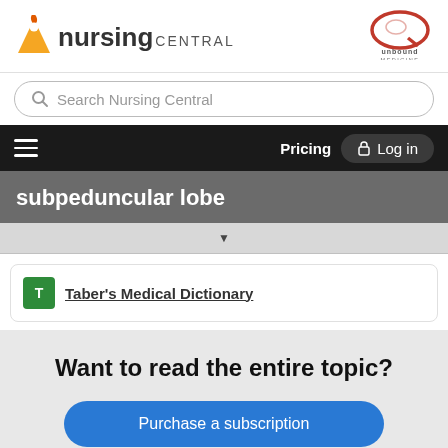[Figure (logo): Nursing Central logo with orange flame/person icon and Unbound Medicine logo top right]
Search Nursing Central
Pricing   Log in
subpeduncular lobe
Taber's Medical Dictionary
Want to read the entire topic?
Purchase a subscription
I'm already a subscriber
Browse sample topics